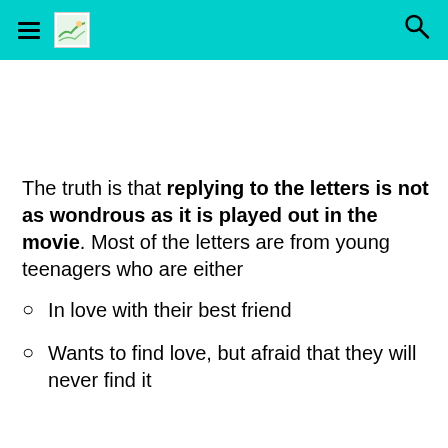Navigation bar with hamburger menu, logo, and search icon
The truth is that replying to the letters is not as wondrous as it is played out in the movie. Most of the letters are from young teenagers who are either
In love with their best friend
Wants to find love, but afraid that they will never find it